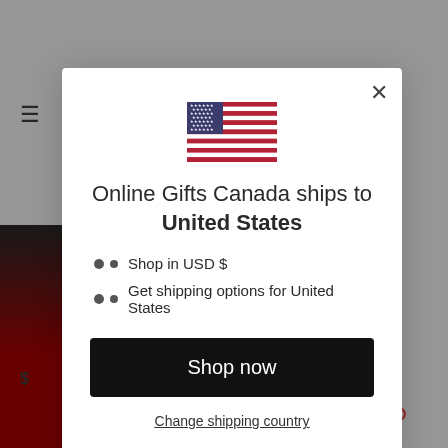[Figure (screenshot): Website background showing navigation menu icon, product image, price, 'Try your luck' button, and wishlist/compare/view icons]
[Figure (illustration): US flag emoji/icon centered at top of modal]
Online Gifts Canada ships to United States
Shop in USD $
Get shipping options for United States
Shop now
Change shipping country